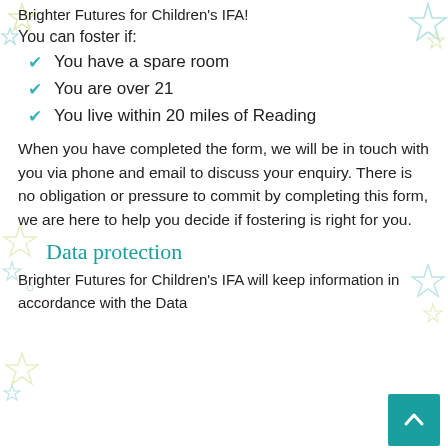Brighter Futures for Children's IFA!
You can foster if:
You have a spare room
You are over 21
You live within 20 miles of Reading
When you have completed the form, we will be in touch with you via phone and email to discuss your enquiry. There is no obligation or pressure to commit by completing this form, we are here to help you decide if fostering is right for you.
Data protection
Brighter Futures for Children's IFA will keep information in accordance with the Data